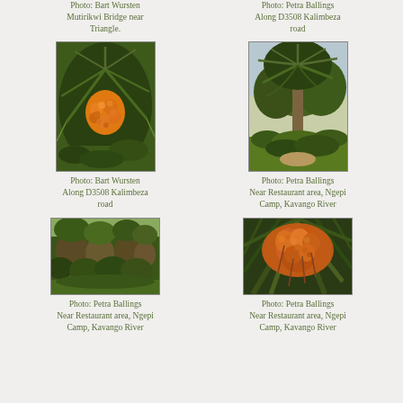Photo: Bart Wursten
Mutirikwi Bridge near Triangle.
Photo: Petra Ballings
Along D3508 Kalimbeza road
[Figure (photo): Close-up of an African wild date palm with clusters of orange fruits and spiky fronds]
[Figure (photo): A tall palm tree (Phoenix reclinata) surrounded by dense bush/scrub vegetation]
Photo: Bart Wursten
Along D3508 Kalimbeza road
Photo: Petra Ballings
Near Restaurant area, Ngepi Camp, Kavango River
[Figure (photo): Wild date palms with shaggy trunks in dense bush near Ngepi Camp]
[Figure (photo): Close-up of palm fronds with clusters of reddish-orange fruits]
Photo: Petra Ballings
Near Restaurant area, Ngepi Camp, Kavango River
Photo: Petra Ballings
Near Restaurant area, Ngepi Camp, Kavango River